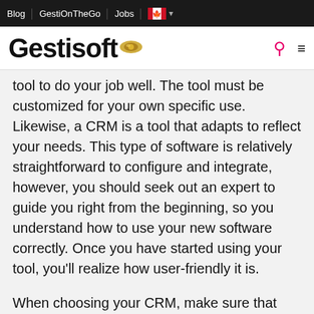Blog | GestiOnTheGo | Jobs | [Canada flag] ▾
Gestisoft
tool to do your job well. The tool must be customized for your own specific use. Likewise, a CRM is a tool that adapts to reflect your needs. This type of software is relatively straightforward to configure and integrate, however, you should seek out an expert to guide you right from the beginning, so you understand how to use your new software correctly. Once you have started using your tool, you'll realize how user-friendly it is.
When choosing your CRM, make sure that your software is scalable so it can continue to meet your needs as your business grows. If your architecture firm is expanding, your CRM must be able to keep up. By purchasing your CRM from a vendor who can provide you with expert informatics advice